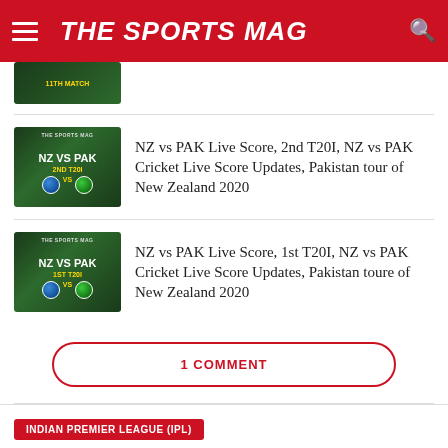THE SPORTS MAG
[Figure (photo): Partial thumbnail showing '11TH MATCH' label on green cricket-themed background]
NZ vs PAK Live Score, 2nd T20I, NZ vs PAK Cricket Live Score Updates, Pakistan tour of New Zealand 2020
[Figure (photo): NZ VS PAK 2ND T20I cricket match graphic with blue and green balls]
NZ vs PAK Live Score, 1st T20I, NZ vs PAK Cricket Live Score Updates, Pakistan toure of New Zealand 2020
[Figure (photo): NZ VS PAK 1ST T20I cricket match graphic with blue and green balls]
1 COMMENT
INDIAN PREMIER LEAGUE (IPL)
IPL 2020: Match 40, RR vs